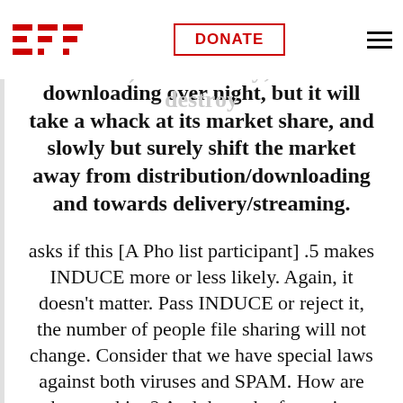EFF — DONATE — (navigation bar)
hard-drive but enhanced Wi-Max metropolitan (wide-bandwidth wireless) connectivity; it won't destroy downloading over night, but it will take a whack at its market share, and slowly but surely shift the market away from distribution/downloading and towards delivery/streaming.
[A Pho list participant] .5 asks if this makes INDUCE more or less likely. Again, it doesn't matter. Pass INDUCE or reject it, the number of people file sharing will not change. Consider that we have special laws against both viruses and SPAM. How are they working? And the task of stopping them has the approval of the average person, where clearly the average person likes...